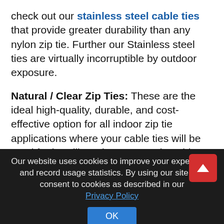check out our stainless steel cable ties that provide greater durability than any nylon zip tie. Further our Stainless steel ties are virtually incorruptible by outdoor exposure.
Natural / Clear Zip Ties: These are the ideal high-quality, durable, and cost-effective option for all indoor zip tie applications where your cable ties will be used for bundling wires or securing objects. In some cases, clear zip ties are referred to colloquially to as “white” cable ties. However, these cable ties are not actually transparent or see-through. instead, they are natural
Our website uses cookies to improve your experience and record usage statistics. By using our site you consent to cookies as described in our Privacy Policy
OK